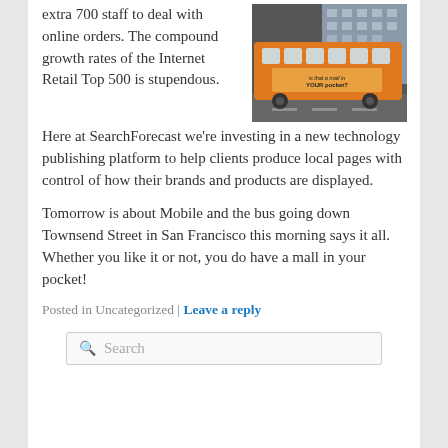extra 700 staff to deal with online orders. The compound growth rates of the Internet Retail Top 500 is stupendous.
[Figure (photo): An orange bus traveling down Townsend Street in San Francisco, with an advertisement on its side reading 'is that a mall in your pocket?']
Here at SearchForecast we're investing in a new technology publishing platform to help clients produce local pages with control of how their brands and products are displayed.
Tomorrow is about Mobile and the bus going down Townsend Street in San Francisco this morning says it all. Whether you like it or not, you do have a mall in your pocket!
Posted in Uncategorized | Leave a reply
Search